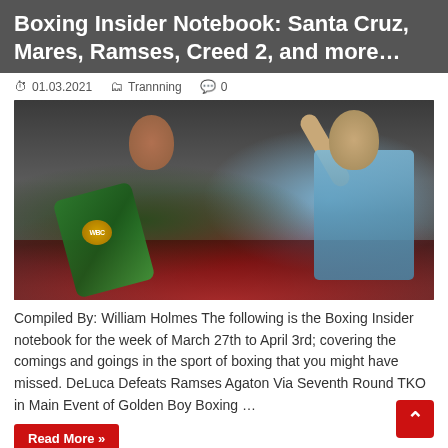Boxing Insider Notebook: Santa Cruz, Mares, Ramses, Creed 2, and more…
01.03.2021   Trannning   0
[Figure (photo): A boxer holding a WBC championship belt celebrating with a referee/official raising his hand in the ring, crowd visible in background]
Compiled By: William Holmes The following is the Boxing Insider notebook for the week of March 27th to April 3rd; covering the comings and goings in the sport of boxing that you might have missed. DeLuca Defeats Ramses Agaton Via Seventh Round TKO in Main Event of Golden Boy Boxing …